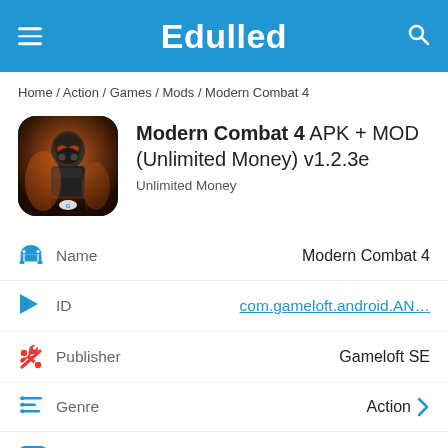Edulled
Home / Action / Games / Mods / Modern Combat 4
Modern Combat 4 APK + MOD (Unlimited Money) v1.2.3e
Unlimited Money
| Field | Value |
| --- | --- |
| Name | Modern Combat 4 |
| ID | com.gameloft.android.AN... |
| Publisher | Gameloft SE |
| Genre | Action |
| MOD Features | Unlimited Money |